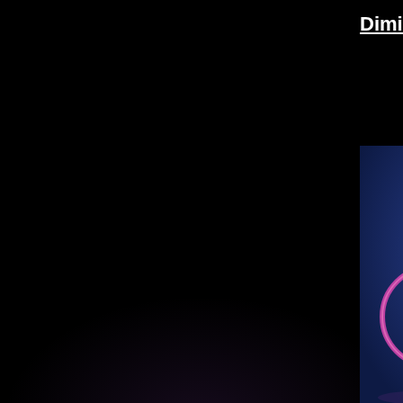[Figure (other): Date badge showing FRI 05 JAN 2018 in a grey rounded rectangle]
Dimitri Ch
[Figure (photo): Partial photo of a performer in purple/pink on a dark blue stage background, visible on the right edge of the image]